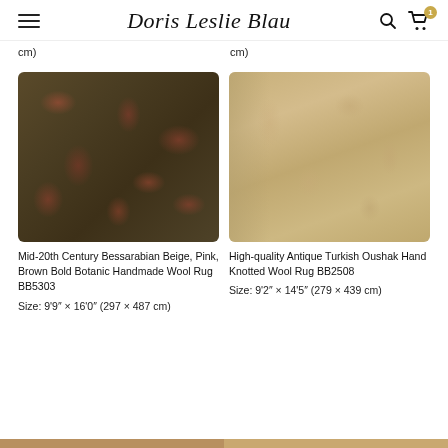Doris Leslie Blau
cm)
cm)
[Figure (photo): Mid-20th Century Bessarabian rug with dark green/brown background and pink/red botanical motifs]
Mid-20th Century Bessarabian Beige, Pink, Brown Bold Botanic Handmade Wool Rug BB5303
Size: 9'9″ × 16'0″ (297 × 487 cm)
[Figure (photo): High-quality Antique Turkish Oushak rug with sandy golden background and faded floral botanical motifs]
High-quality Antique Turkish Oushak Hand Knotted Wool Rug BB2508
Size: 9'2″ × 14'5″ (279 × 439 cm)